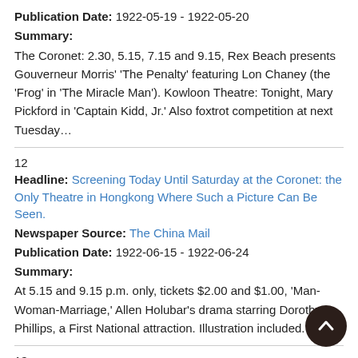Publication Date: 1922-05-19 - 1922-05-20
Summary:
The Coronet: 2.30, 5.15, 7.15 and 9.15, Rex Beach presents Gouverneur Morris' 'The Penalty' featuring Lon Chaney (the 'Frog' in 'The Miracle Man'). Kowloon Theatre: Tonight, Mary Pickford in 'Captain Kidd, Jr.' Also foxtrot competition at next Tuesday…
12
Headline: Screening Today Until Saturday at the Coronet: the Only Theatre in Hongkong Where Such a Picture Can Be Seen.
Newspaper Source: The China Mail
Publication Date: 1922-06-15 - 1922-06-24
Summary:
At 5.15 and 9.15 p.m. only, tickets $2.00 and $1.00, 'Man-Woman-Marriage,' Allen Holubar's drama starring Dorothy Phillips, a First National attraction. Illustration included.
13
Headline: The Coronet; Kowloon Theatre
Newspaper Source: The China Mail
Publication Date: 1922-06-21 - 1922-06-22